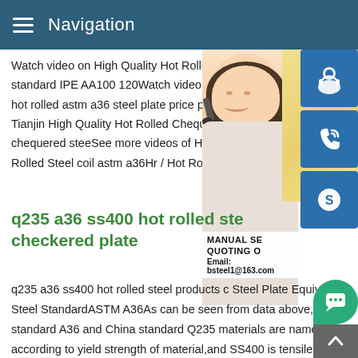Navigation
Watch video on High Quality Hot Rolled IF standard IPE AA100 120Watch video on p hot rolled astm a36 steel plate price per to Tianjin High Quality Hot Rolled Chequered chequered steeSee more videos of High q Rolled Steel coil astm a36Hr / Hot Rolled b
[Figure (photo): Photo of a woman wearing a headset, customer service representative, overlaid with blue icon buttons for chat, phone/call, and Skype. Contact overlay shows MANUAL SE, QUOTING O, Email: bsteel1@163.com]
q235 a36 ss400 hot rolled ste checkered plate
q235 a36 ss400 hot rolled steel products c Steel Plate Equivalent Steel StandardASTM A36As can be seen from data above,ASME standard A36 and China standard Q235 materials are named according to yield strength of material,and SS400 is tensile strength.From the analysis of mechanical properties,A36 and SS400 are more equivalent,while Q235 material is less.a36 steel price 10mm,a36 steel price 10mm